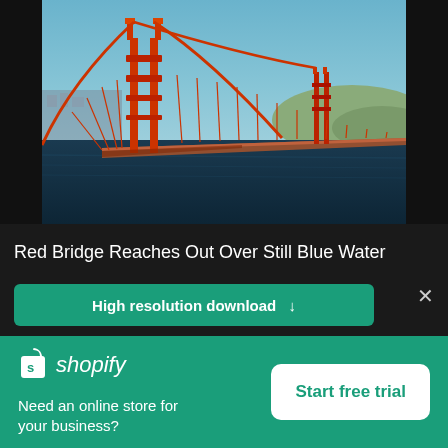[Figure (photo): Aerial photo of the Golden Gate Bridge in San Francisco, showing the iconic red bridge towers and cables spanning the blue water bay, with hills in the background.]
Red Bridge Reaches Out Over Still Blue Water
High resolution download ↓
[Figure (logo): Shopify logo — shopping bag icon with 's' and the word 'shopify' in italic white text on green background]
Need an online store for your business?
Start free trial